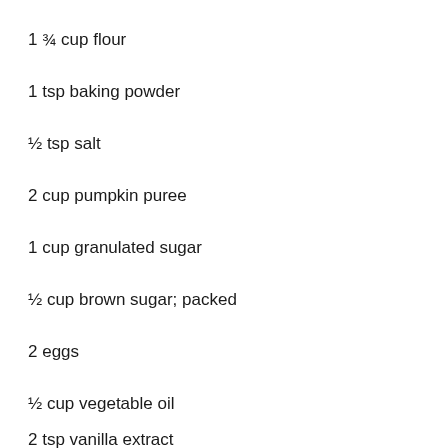1 ¾ cup flour
1 tsp baking powder
½ tsp salt
2 cup pumpkin puree
1 cup granulated sugar
½ cup brown sugar; packed
2 eggs
½ cup vegetable oil
2 tsp vanilla extract